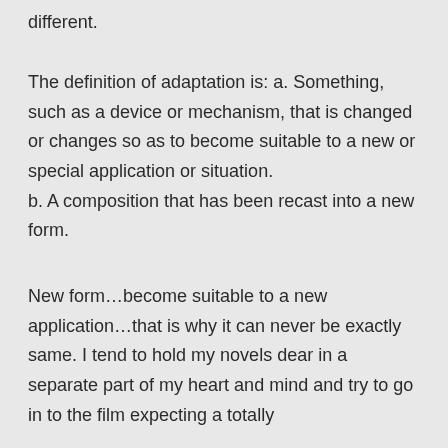different.
The definition of adaptation is: a. Something, such as a device or mechanism, that is changed or changes so as to become suitable to a new or special application or situation.
b. A composition that has been recast into a new form.
New form…become suitable to a new application…that is why it can never be exactly same. I tend to hold my novels dear in a separate part of my heart and mind and try to go in to the film expecting a totally